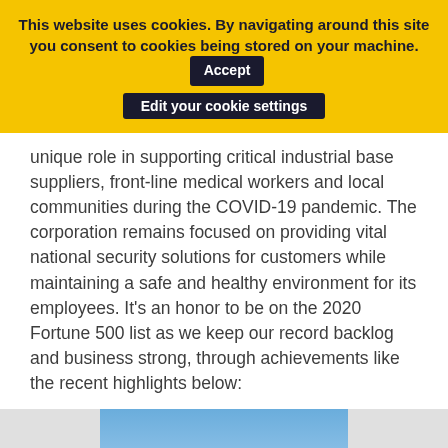This website uses cookies. By navigating around this site you consent to cookies being stored on your machine.  Accept  Edit your cookie settings
unique role in supporting critical industrial base suppliers, front-line medical workers and local communities during the COVID-19 pandemic. The corporation remains focused on providing vital national security solutions for customers while maintaining a safe and healthy environment for its employees. It’s an honor to be on the 2020 Fortune 500 list as we keep our record backlog and business strong, through achievements like the recent highlights below:
[Figure (photo): Formation of military fighter jets flying above clouds in a blue sky.]